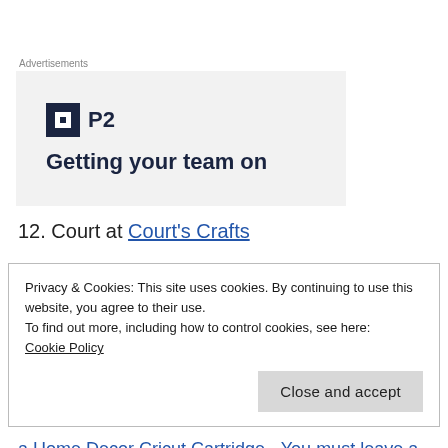[Figure (infographic): Advertisement box with P2 logo (dark square icon with white square inside, followed by 'P2' text) and tagline 'Getting your team on']
12. Court at Court's Crafts
Privacy & Cookies: This site uses cookies. By continuing to use this website, you agree to their use.
To find out more, including how to control cookies, see here:
Cookie Policy
Close and accept
a Home Decor Cricut Cartridge - You must leave a